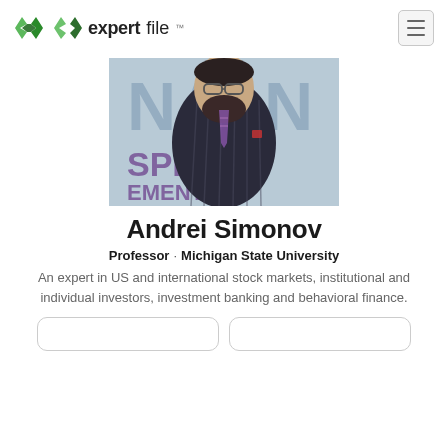expertfile™
[Figure (photo): Professional photo of Andrei Simonov, a man with glasses and beard wearing a pinstripe suit, in front of a backdrop with partial text 'NANO', 'SPDR', 'EMENT']
Andrei Simonov
Professor · Michigan State University
An expert in US and international stock markets, institutional and individual investors, investment banking and behavioral finance.